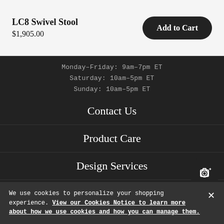LC8 Swivel Stool
$1,905.00
Add to Cart
Monday–Friday: 9am–7pm ET
Saturday: 10am–5pm ET
Sunday: 10am–5pm ET
Contact Us
Product Care
Design Services
Shipping + Returns
Visit a Studio
We use cookies to personalize your shopping experience. View our Cookies Notice to learn more about how we use cookies and how you can manage them.